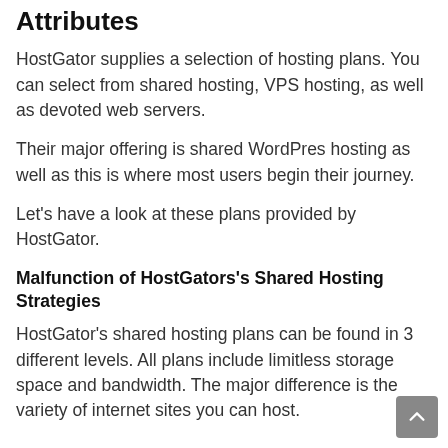Attributes
HostGator supplies a selection of hosting plans. You can select from shared hosting, VPS hosting, as well as devoted web servers.
Their major offering is shared WordPres hosting as well as this is where most users begin their journey.
Let's have a look at these plans provided by HostGator.
Malfunction of HostGators's Shared Hosting Strategies
HostGator's shared hosting plans can be found in 3 different levels. All plans include limitless storage space and bandwidth. The major difference is the variety of internet sites you can host.